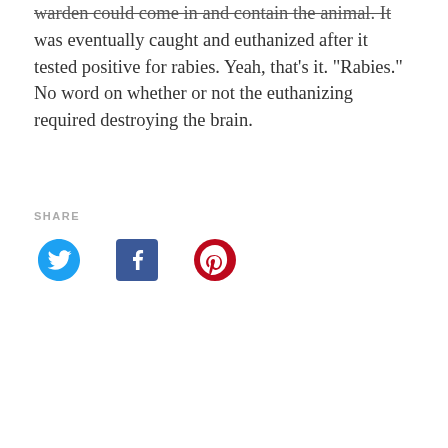warden could come in and contain the animal. It was eventually caught and euthanized after it tested positive for rabies. Yeah, that's it. "Rabies." No word on whether or not the euthanizing required destroying the brain.
SHARE
[Figure (other): Social sharing icons for Twitter (blue bird), Facebook (blue f logo), and Pinterest (red P logo)]